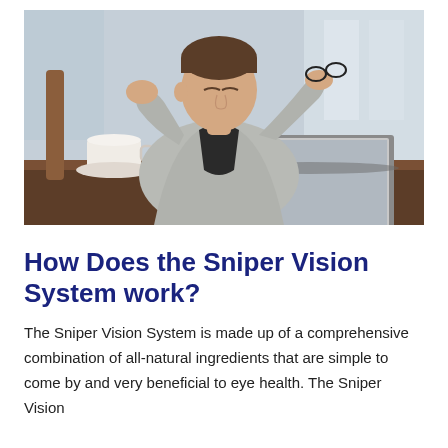[Figure (photo): A man in a grey blazer and black shirt sitting at a desk with a laptop, rubbing his eyes and holding his glasses, with a coffee cup nearby. Background shows a blurred indoor/outdoor setting.]
How Does the Sniper Vision System work?
The Sniper Vision System is made up of a comprehensive combination of all-natural ingredients that are simple to come by and very beneficial to eye health. The Sniper Vision